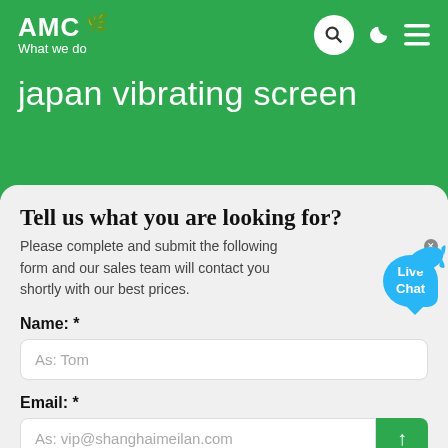AMC — What we do
japan vibrating screen
Tell us what you are looking for?
Please complete and submit the following form and our sales team will contact you shortly with our best prices.
Name: *
As: Tom
Email: *
As: vip@shanghaimeilan.com
Phone: *
With Country Code